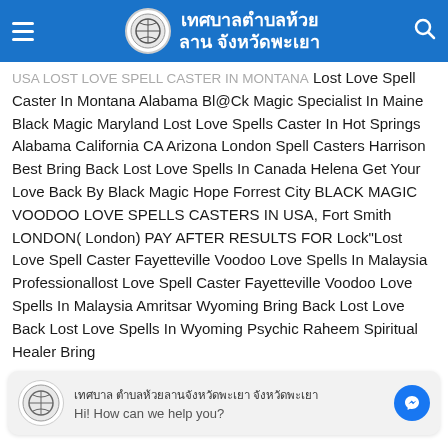เทศบาลตำบลห้วยลาน จังหวัดพะเยา
USA LOST LOVE SPELL CASTER IN MONTANA Lost Love Spell Caster In Montana Alabama Bl@Ck Magic Specialist In Maine Black Magic Maryland Lost Love Spells Caster In Hot Springs Alabama California CA Arizona London Spell Casters Harrison Best Bring Back Lost Love Spells In Canada Helena Get Your Love Back By Black Magic Hope Forrest City BLACK MAGIC VOODOO LOVE SPELLS CASTERS IN USA, Fort Smith LONDON( London) PAY AFTER RESULTS FOR Lock"Lost Love Spell Caster Fayetteville Voodoo Love Spells In Malaysia Professionallost Love Spell Caster Fayetteville Voodoo Love Spells In Malaysia Amritsar Wyoming Bring Back Lost Love Back Lost Love Spells In Wyoming Psychic Raheem Spiritual Healer Bring
[Figure (other): Chat widget with Thai page logo avatar, Thai text page name, 'Hi! How can we help you?' message, and Facebook Messenger button]
Utah Black Magic Intercast Love Marriage Problem